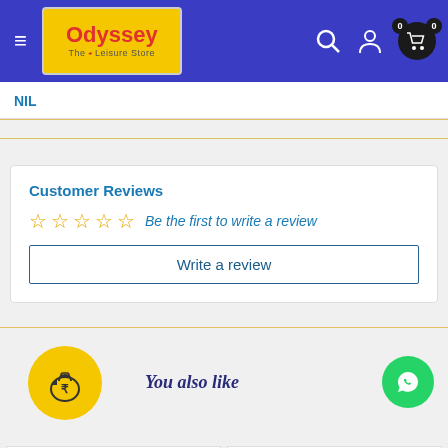[Figure (screenshot): Odyssey The Leisure Store website header with blue background, hamburger menu, yellow logo, search icon, user icon, and cart icon with 0 items]
NIL
Customer Reviews
☆ ☆ ☆ ☆ ☆ Be the first to write a review
Write a review
You may also like